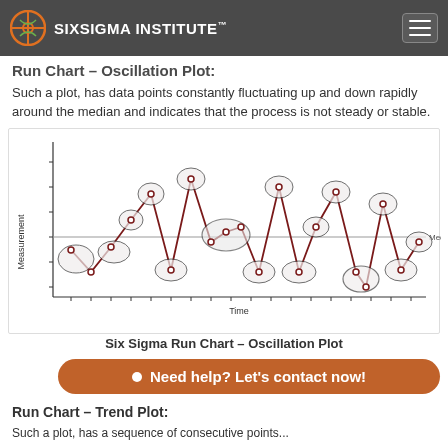SIXSIGMA INSTITUTE™
Run Chart – Oscillation Plot:
Such a plot, has data points constantly fluctuating up and down rapidly around the median and indicates that the process is not steady or stable.
[Figure (continuous-plot): Run chart oscillation plot showing data points fluctuating up and down rapidly around the median line, with ellipses highlighting groups of consecutive points alternating above and below median.]
Six Sigma Run Chart – Oscillation Plot
• Need help? Let's contact now!
Run Chart – Trend Plot:
Such a plot, has a sequence of consecutive points...